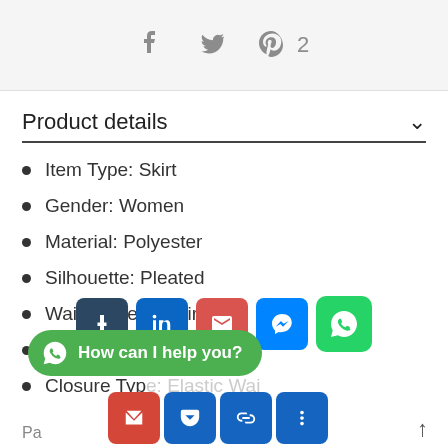[Figure (screenshot): Social media share bar with Facebook, Twitter, and Pinterest (2) icons on a light gray background]
Product details
Item Type: Skirt
Gender: Women
Material: Polyester
Silhouette: Pleated
Waist Type: Empire
Length: Mid-Calf
Closure Type: Elastic Waist
[Figure (screenshot): Overlay of social share buttons (Tumblr, LinkedIn, Email, Messenger, WhatsApp) and a WhatsApp chat bubble saying 'How can I help you?' and a second row of share icons]
Pa...